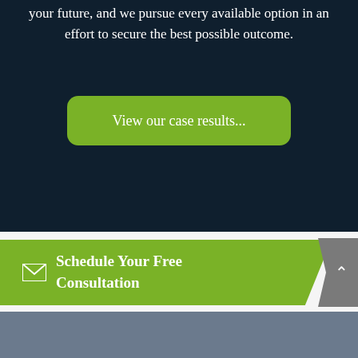your future, and we pursue every available option in an effort to secure the best possible outcome.
View our case results...
Schedule Your Free Consultation